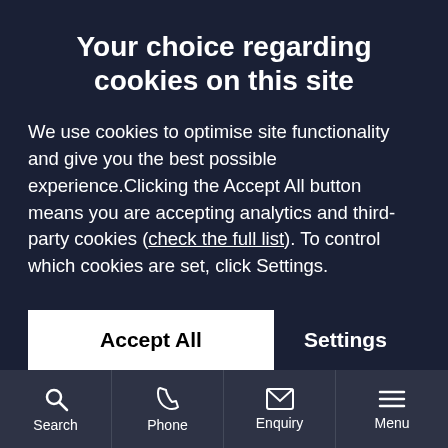Your choice regarding cookies on this site
We use cookies to optimise site functionality and give you the best possible experience.Clicking the Accept All button means you are accepting analytics and third-party cookies (check the full list). To control which cookies are set, click Settings.
Accept All
Settings
Search | Phone | Enquiry | Menu